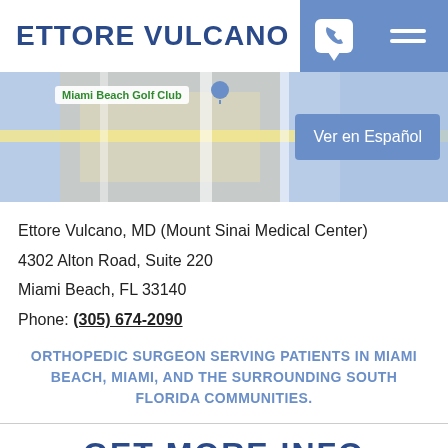ETTORE VULCANO
[Figure (map): Google Maps partial view showing Miami Beach Golf Club area with street map and a location pin. A blue button overlay reads 'Ver en Español'.]
Ettore Vulcano, MD (Mount Sinai Medical Center)
4302 Alton Road, Suite 220
Miami Beach, FL 33140
Phone: (305) 674-2090
ORTHOPEDIC SURGEON SERVING PATIENTS IN MIAMI BEACH, MIAMI, AND THE SURROUNDING SOUTH FLORIDA COMMUNITIES.
GET MORE INFO